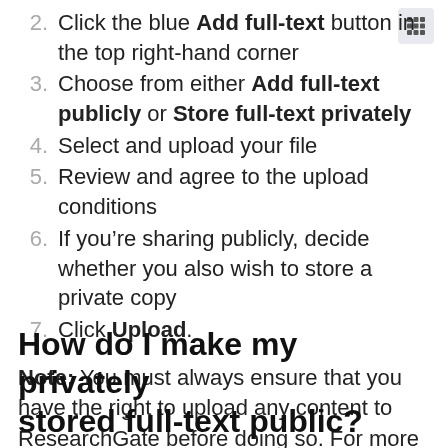2. Click the blue Add full-text button in the top right-hand corner
3. Choose from either Add full-text publicly or Store full-text privately
4. Select and upload your file
5. Review and agree to the upload conditions
6. If you’re sharing publicly, decide whether you also wish to store a private copy
7. Click Upload.
Note: You must always ensure that you have the right to upload any content to ResearchGate before doing so. For more information see our Copyright section.
How do I make my privately stored full-text public?